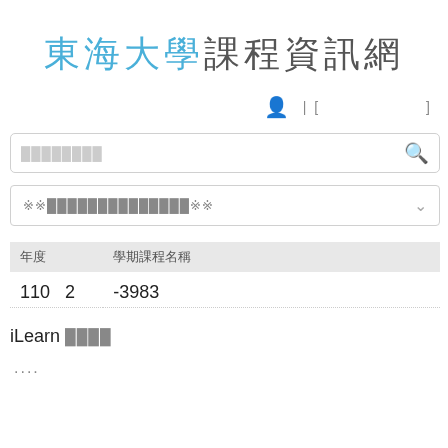東海大學課程資訊網
▲  |  [    ]
[Figure (screenshot): Search input box with placeholder text and magnifying glass icon]
[Figure (screenshot): Dropdown selector with placeholder text and chevron arrow]
| 年度 | 學期課程名稱 |
| --- | --- |
| 110 | 2   -3983 |
iLearn ████
....